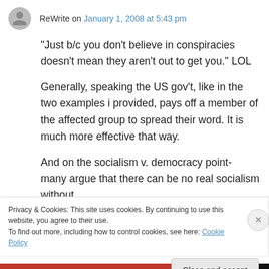ReWrite on January 1, 2008 at 5:43 pm
“Just b/c you don’t believe in conspiracies doesn’t mean they aren’t out to get you.” LOL
Generally, speaking the US gov’t, like in the two examples i provided, pays off a member of the affected group to spread their word. It is much more effective that way.
And on the socialism v. democracy point- many argue that there can be no real socialism without
Privacy & Cookies: This site uses cookies. By continuing to use this website, you agree to their use.
To find out more, including how to control cookies, see here: Cookie Policy